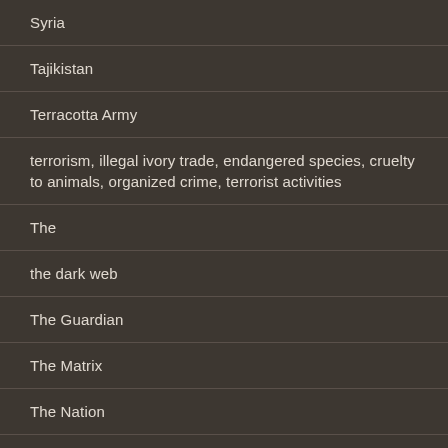Syria
Tajikistan
Terracotta Army
terrorism, illegal ivory trade, endangered species, cruelty to animals, organized crime, terrorist activities
The
the dark web
The Guardian
The Matrix
The Nation
Title Vi
Title VI